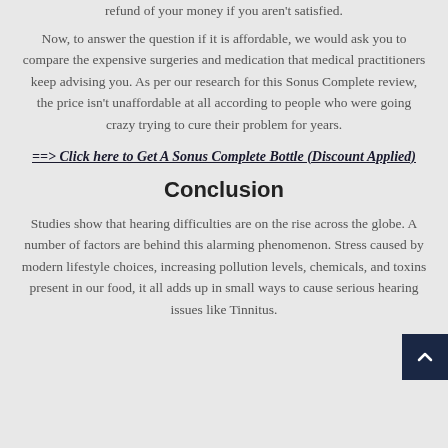refund of your money if you aren't satisfied.
Now, to answer the question if it is affordable, we would ask you to compare the expensive surgeries and medication that medical practitioners keep advising you. As per our research for this Sonus Complete review, the price isn't unaffordable at all according to people who were going crazy trying to cure their problem for years.
==> Click here to Get A Sonus Complete Bottle (Discount Applied)
Conclusion
Studies show that hearing difficulties are on the rise across the globe. A number of factors are behind this alarming phenomenon. Stress caused by modern lifestyle choices, increasing pollution levels, chemicals, and toxins present in our food, it all adds up in small ways to cause serious hearing issues like Tinnitus.